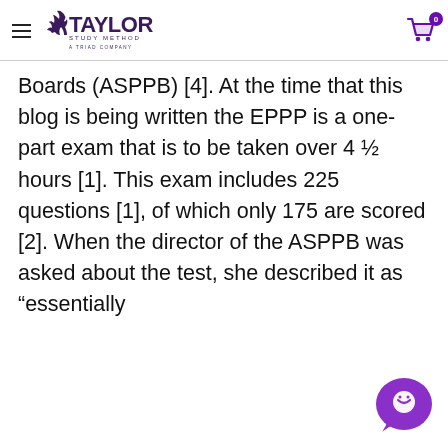Taylor Study Method — A Triad Company
Boards (ASPPB) [4]. At the time that this blog is being written the EPPP is a one-part exam that is to be taken over 4 ½ hours [1]. This exam includes 225 questions [1], of which only 175 are scored [2]. When the director of the ASPPB was asked about the test, she described it as “essentially
[Figure (logo): Purple chat bubble / customer support widget icon in the bottom right corner]